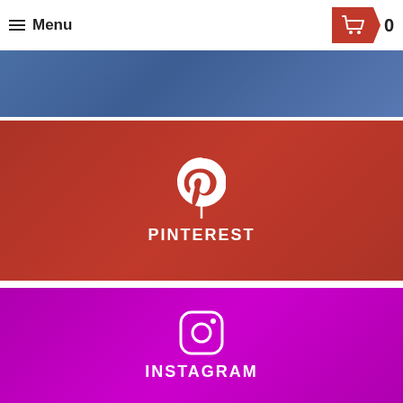Menu  0
[Figure (screenshot): Blue banner background showing cars with blue overlay]
[Figure (screenshot): Pinterest social media banner with red overlay, cars in background, Pinterest logo icon and text PINTEREST in white]
[Figure (screenshot): Instagram social media banner with magenta/purple overlay, cars in background, Instagram logo icon and text INSTAGRAM in white]